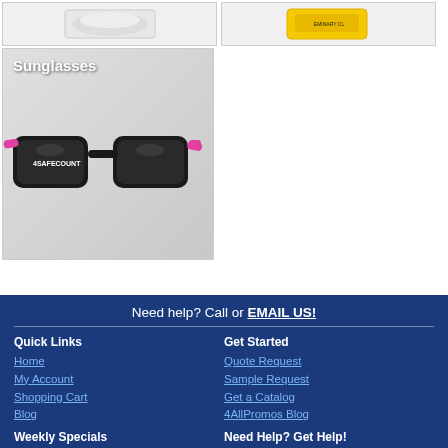[Figure (photo): White cloth/pouch product image in gray bordered cell]
[Figure (photo): Yellow branded bag/pouch product image in gray bordered cell]
[Figure (photo): Sunglasses category card with label 'Sunglasses' and pink/black sunglasses image on gray gradient background]
Need help? Call or EMAIL US!
Quick Links
Home
My Account
Shopping Cart
Blog
Get Started
Quote Request
Sample Request
Get a Catalog
4AllPromos Blog
Weekly Specials
Need Help? Get Help!